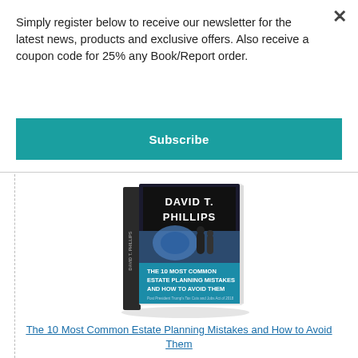Simply register below to receive our newsletter for the latest news, products and exclusive offers. Also receive a coupon code for 25% any Book/Report order.
Subscribe
[Figure (illustration): Book cover titled 'The 10 Most Common Estate Planning Mistakes and How to Avoid Them' by David T. Phillips, shown as a 3D book with a blue and black cover featuring people silhouettes]
The 10 Most Common Estate Planning Mistakes and How to Avoid Them